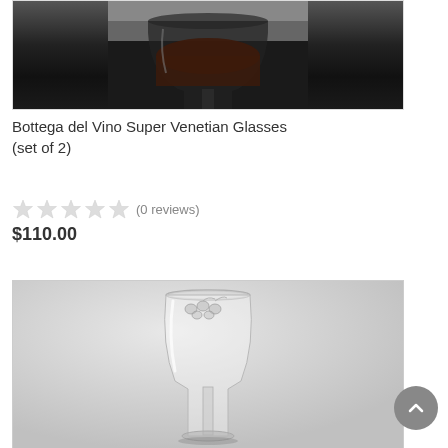[Figure (photo): Top portion of a wine glass with dark background, showing the bowl and stem area from above]
Bottega del Vino Super Venetian Glasses (set of 2)
★★★★★ (0 reviews)
$110.00
[Figure (photo): A clear crystal wine glass (tall white wine glass shape) on a light grey background, showing full glass with etched grape/vine decoration near the rim]